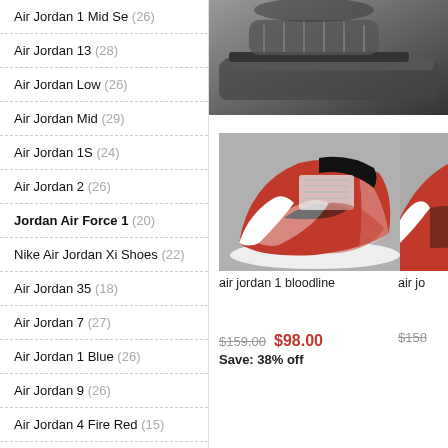Air Jordan 1 Mid Se (26)
Air Jordan 13 (28)
Air Jordan Low (26)
Air Jordan Mid (29)
Air Jordan 1S (24)
Air Jordan 2 (26)
Jordan Air Force 1 (20)
Nike Air Jordan Xi Shoes (22)
Air Jordan 35 (18)
Air Jordan 7 (27)
Air Jordan 1 Blue (26)
Air Jordan 9 (26)
Air Jordan 4 Fire Red (15)
Air Jordan One (22)
Air Jordan 11 Jubilee (9)
Air Jordan 1 Black And White (25)
[Figure (photo): Top portion of a sneaker shown from above on dark gray background]
[Figure (photo): Air Jordan 1 Bloodline sneaker in red, white, and black colorway on gray background]
air jordan 1 bloodline
air jo
$159.00  $98.00  Save: 38% off
$158